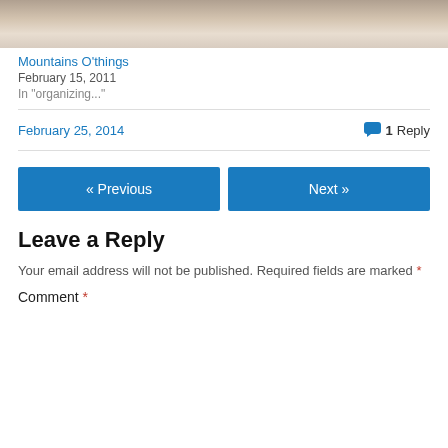[Figure (photo): Partial photo showing a blurred face/portrait, cropped at top]
Mountains O'things
February 15, 2011
In "organizing..."
February 25, 2014
1 Reply
« Previous
Next »
Leave a Reply
Your email address will not be published. Required fields are marked *
Comment *